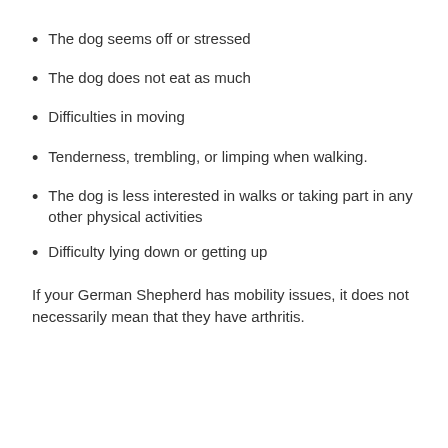The dog seems off or stressed
The dog does not eat as much
Difficulties in moving
Tenderness, trembling, or limping when walking.
The dog is less interested in walks or taking part in any other physical activities
Difficulty lying down or getting up
If your German Shepherd has mobility issues, it does not necessarily mean that they have arthritis.